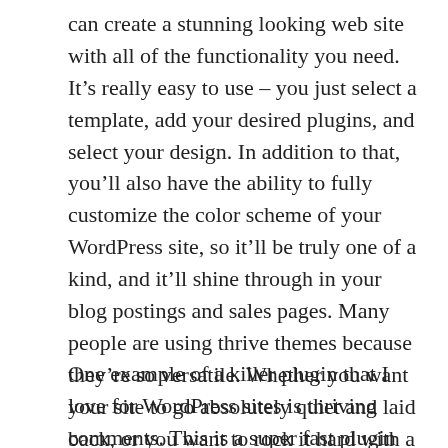can create a stunning looking web site with all of the functionality you need. It's really easy to use – you just select a template, add your desired plugins, and select your design. In addition to that, you'll also have the ability to fully customize the color scheme of your WordPress site, so it'll be truly one of a kind, and it'll shine through in your blog postings and sales pages. Many people are using thrive themes because they're so versatile. Whether you want your site to go absolutely quiet and laid back, or you want to rock it hard with a loud, vibrant look, you can do it easily with a suite of WordPress Plugins.
One example of a killer plugin that I love for WordPress sites is thriving comments. This is a super fast plugin that lets readers of your blog to post comments on your posts and have those